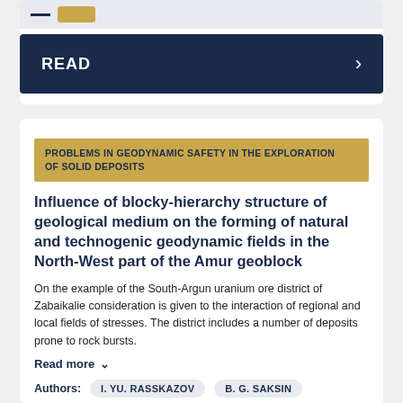[Figure (screenshot): Top card with a dark navy READ button bar and arrow, with a light grey header bar containing a dash icon and gold button]
PROBLEMS IN GEODYNAMIC SAFETY IN THE EXPLORATION OF SOLID DEPOSITS
Influence of blocky-hierarchy structure of geological medium on the forming of natural and technogenic geodynamic fields in the North-West part of the Amur geoblock
On the example of the South-Argun uranium ore district of Zabaikalie consideration is given to the interaction of regional and local fields of stresses. The district includes a number of deposits prone to rock bursts.
Read more ∨
Authors:  I. YU. RASSKAZOV  B. G. SAKSIN